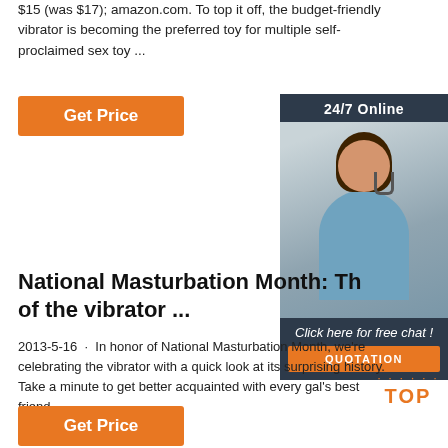$15 (was $17); amazon.com. To top it off, the budget-friendly vibrator is becoming the preferred toy for multiple self-proclaimed sex toy ...
[Figure (other): Orange 'Get Price' button (top)]
[Figure (other): Advertisement panel: '24/7 Online' header, photo of woman with headset, 'Click here for free chat!' text, orange 'QUOTATION' button]
National Masturbation Month: Th... of the vibrator ...
2013-5-16 · In honor of National Masturbation Month, we're celebrating the vibrator with a quick look at its surprising history. Take a minute to get better acquainted with every gal's best friend ...
[Figure (other): Orange 'Get Price' button (bottom, partially visible)]
[Figure (logo): Orange 'TOP' badge with decorative dots]